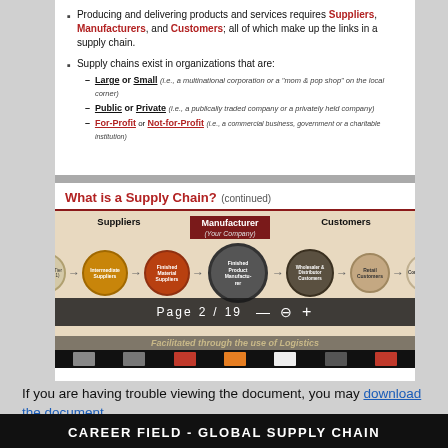Producing and delivering products and services requires Suppliers, Manufacturers, and Customers; all of which make up the links in a supply chain.
Supply chains exist in organizations that are:
Large or Small (i.e., a multinational corporation or a "mom & pop shop" on the local corner)
Public or Private (i.e., a publically traded company or a privately held company)
For-Profit or Not-for-Profit (i.e., a commercial business, government or a charitable institution)
[Figure (infographic): Supply chain diagram showing Suppliers (Raw Material Suppliers, Intermediate Suppliers, Finished Material Suppliers), Manufacturer (Your Company) with Finished Product Manufacturer in center, and Customers (Wholesaler & Distributor Customers, Retail Customers, Consumers). Title: What is a Supply Chain? (continued). PDF viewer bar showing Page 2 / 19. Bottom text: Facilitated through the use of Logistics.]
If you are having trouble viewing the document, you may download the document.
CAREER FIELD - GLOBAL SUPPLY CHAIN